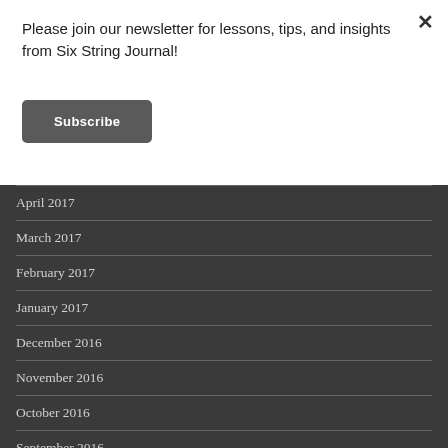Please join our newsletter for lessons, tips, and insights from Six String Journal!
Subscribe
April 2017
March 2017
February 2017
January 2017
December 2016
November 2016
October 2016
September 2016